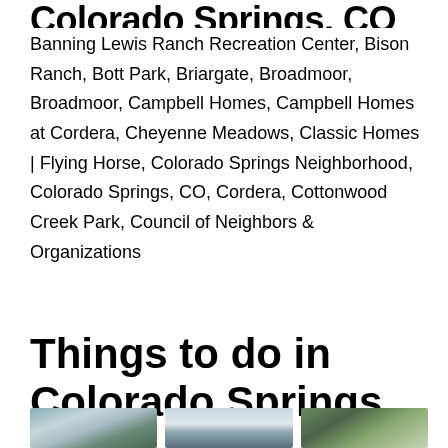Colorado Springs, CO
Banning Lewis Ranch Recreation Center, Bison Ranch, Bott Park, Briargate, Broadmoor, Broadmoor, Campbell Homes, Campbell Homes at Cordera, Cheyenne Meadows, Classic Homes | Flying Horse, Colorado Springs Neighborhood, Colorado Springs, CO, Cordera, Cottonwood Creek Park, Council of Neighbors & Organizations
Things to do in Colorado Springs, CO
[Figure (photo): Outdoor photo showing trees in winter]
[Figure (photo): Outdoor landscape photo]
[Figure (photo): Outdoor photo showing evergreen trees]